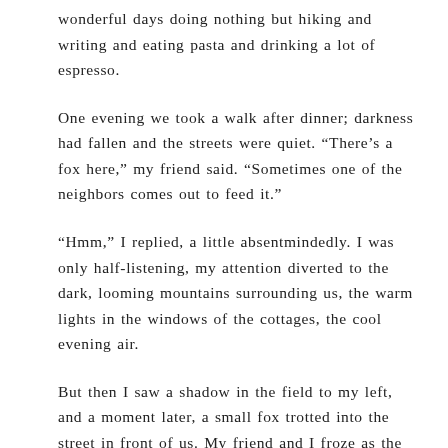wonderful days doing nothing but hiking and writing and eating pasta and drinking a lot of espresso.
One evening we took a walk after dinner; darkness had fallen and the streets were quiet. “There’s a fox here,” my friend said. “Sometimes one of the neighbors comes out to feed it.”
“Hmm,” I replied, a little absentmindedly. I was only half-listening, my attention diverted to the dark, looming mountains surrounding us, the warm lights in the windows of the cottages, the cool evening air.
But then I saw a shadow in the field to my left, and a moment later, a small fox trotted into the street in front of us. My friend and I froze as the fox